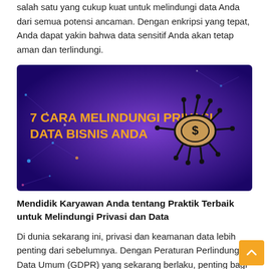salah satu yang cukup kuat untuk melindungi data Anda dari semua potensi ancaman. Dengan enkripsi yang tepat, Anda dapat yakin bahwa data sensitif Anda akan tetap aman dan terlindungi.
[Figure (illustration): Banner image with purple/violet gradient background showing text '7 CARA MELINDUNGI PRIVASI DATA BISNIS ANDA' in bold orange/yellow on the left, and a stylized bug/virus illustration with a coin-like body on the right. Network nodes and connection lines visible in background.]
Mendidik Karyawan Anda tentang Praktik Terbaik untuk Melindungi Privasi dan Data
Di dunia sekarang ini, privasi dan keamanan data lebih penting dari sebelumnya. Dengan Peraturan Perlindungan Data Umum (GDPR) yang sekarang berlaku, penting bagi bisnis untuk memiliki prosedur dan kebijakan untuk melindungi data pribadi karyawan, pelanggan, dan mitra mereka. Sementara beberapa organisasi mungkin